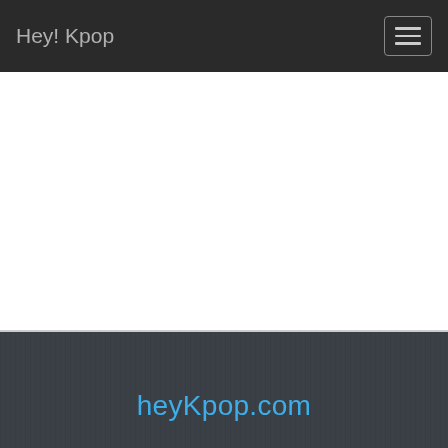Hey! Kpop
[Figure (screenshot): White empty content area below navigation bar]
heyKpop.com
[Figure (infographic): Social media icons: Twitter bird, Facebook f, Instagram camera]
Bibi and Tina TV
The Official Bibi & Tina YouTube Channel. A new adventure will be uploaded every thursday! Bibi and Tina